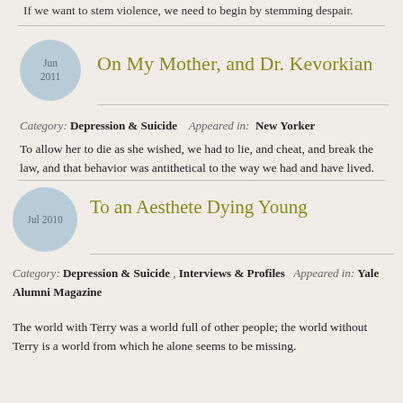If we want to stem violence, we need to begin by stemming despair.
On My Mother, and Dr. Kevorkian
Category: Depression & Suicide   Appeared in: New Yorker
To allow her to die as she wished, we had to lie, and cheat, and break the law, and that behavior was antithetical to the way we had and have lived.
To an Aesthete Dying Young
Category: Depression & Suicide , Interviews & Profiles   Appeared in: Yale Alumni Magazine
The world with Terry was a world full of other people; the world without Terry is a world from which he alone seems to be missing.